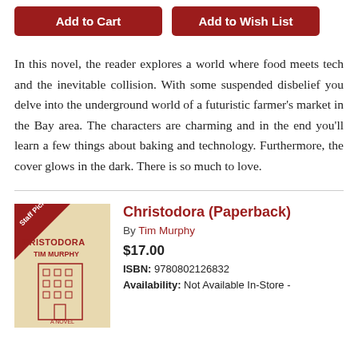[Figure (other): Two red buttons: 'Add to Cart' and 'Add to Wish List']
In this novel, the reader explores a world where food meets tech and the inevitable collision. With some suspended disbelief you delve into the underground world of a futuristic farmer's market in the Bay area. The characters are charming and in the end you'll learn a few things about baking and technology. Furthermore, the cover glows in the dark. There is so much to love.
[Figure (illustration): Book cover of Christodora by Tim Murphy with a Staff Pick banner in red]
Christodora (Paperback)
By Tim Murphy
$17.00
ISBN: 9780802126832
Availability: Not Available In-Store -